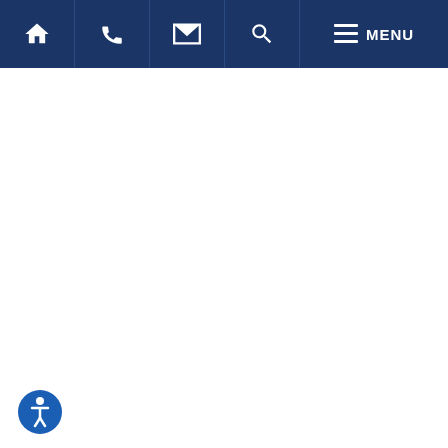Navigation bar with home, phone, email, search, and menu icons
Thomas F. Farley
Visit Profile